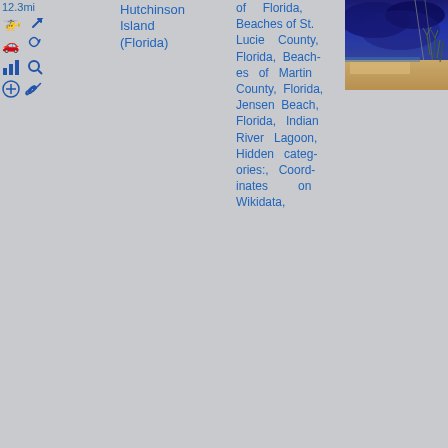12.3mi
[Figure (infographic): Navigation/map icons: helicopter, turn arrow, car, spiral, bar chart, magnifier, plus, link]
Hutchinson Island (Florida)
of Florida, Beaches of St. Lucie County, Florida, Beaches of Martin County, Florida, Jensen Beach, Florida, Indian River Lagoon, Hidden categories:, Coordinates on Wikidata,
[Figure (photo): Beach scene with dark stormy sky and sandy shore with grasses, power lines visible]